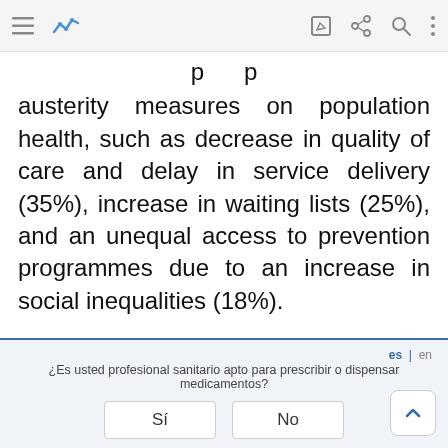[App navigation bar]
austerity measures on population health, such as decrease in quality of care and delay in service delivery (35%), increase in waiting lists (25%), and an unequal access to prevention programmes due to an increase in social inequalities (18%).
Table 5.
Main consequences of the austerity measures applied to the NHS on the population. Frequencies and absolute
¿Es usted profesional sanitario apto para prescribir o dispensar medicamentos? Sí | No